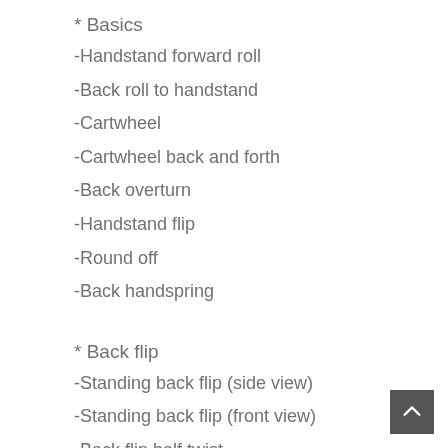* Basics
-Handstand forward roll
-Back roll to handstand
-Cartwheel
-Cartwheel back and forth
-Back overturn
-Handstand flip
-Round off
-Back handspring
* Back flip
-Standing back flip (side view)
-Standing back flip (front view)
-Back flip half twist
-Round off tuck
-Back handspring backflip
-Round off back flip curved